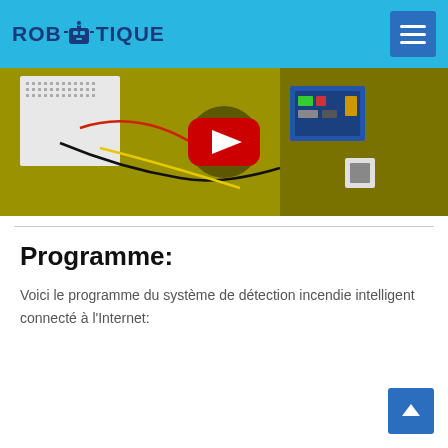ROBOTIQUE
[Figure (photo): A YouTube video thumbnail showing an electronics breadboard and circuit components with wires on a yellow-green background, with a YouTube play button overlay in the center.]
Programme:
Voici le programme du système de détection incendie intelligent connecté à l'Internet: